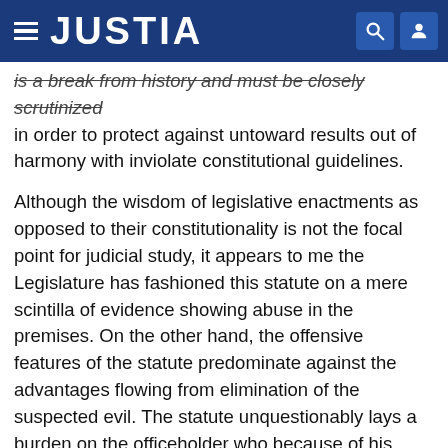JUSTIA
is a break from history and must be closely scrutinized in order to protect against untoward results out of harmony with inviolate constitutional guidelines.
Although the wisdom of legislative enactments as opposed to their constitutionality is not the focal point for judicial study, it appears to me the Legislature has fashioned this statute on a mere scintilla of evidence showing abuse in the premises. On the other hand, the offensive features of the statute predominate against the advantages flowing from elimination of the suspected evil. The statute unquestionably lays a burden on the officeholder who because of his experience seeks promotion to another office, and will tend to deny the electorate the opportunity to have a full cadre of candidates, representative of all sectors of the community and of differing philosophies. The discriminatory nature of the statute generates cause to